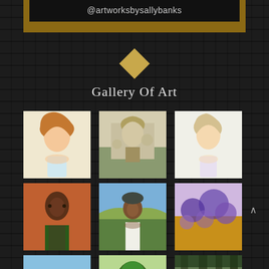@artworksbysallybanks
Gallery Of Art
[Figure (photo): Portrait painting of a young girl with red curly hair]
[Figure (photo): Painting of the Trevi Fountain in Rome]
[Figure (photo): Portrait painting of a young blonde girl]
[Figure (photo): Portrait painting of a young Black man]
[Figure (photo): Portrait painting of an elderly Black woman in white clothing outdoors]
[Figure (photo): Abstract floral/nature painting with purple and golden tones]
[Figure (photo): Landscape painting with green trees and fields]
[Figure (photo): Painting of trees and foliage]
[Figure (photo): Forest scene painting with tall trees]